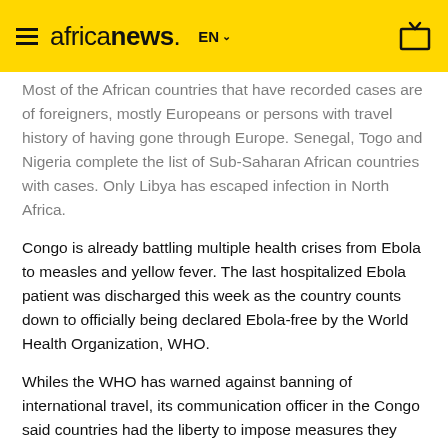africanews. EN
Most of the African countries that have recorded cases are of foreigners, mostly Europeans or persons with travel history of having gone through Europe. Senegal, Togo and Nigeria complete the list of Sub-Saharan African countries with cases. Only Libya has escaped infection in North Africa.
Congo is already battling multiple health crises from Ebola to measles and yellow fever. The last hospitalized Ebola patient was discharged this week as the country counts down to officially being declared Ebola-free by the World Health Organization, WHO.
Whiles the WHO has warned against banning of international travel, its communication officer in the Congo said countries had the liberty to impose measures they deemed fit on incoming foreigners.
“Each country is sovereign and can have its policy concerning travellers leaving or coming from countries